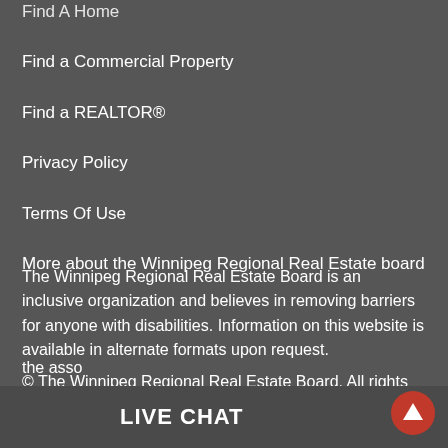Find A Home
Find a Commercial Property
Find a REALTOR®
Privacy Policy
Terms Of Use
More about the Winnipeg Regional Real Estate board
The Winnipeg Regional Real Estate Board is an inclusive organization and believes in removing barriers for anyone with disabilities. Information on this website is available in alternate formats upon request.
© The Winnipeg Regional Real Estate Board. All rights reserved. REALTOR®, REALTORS® and the associated logos are trademarks of REALTOR® Canada Inc. a corporation owned by The Canadian Real Estate Association and the National Association of REALTO... the asso...
LIVE CHAT